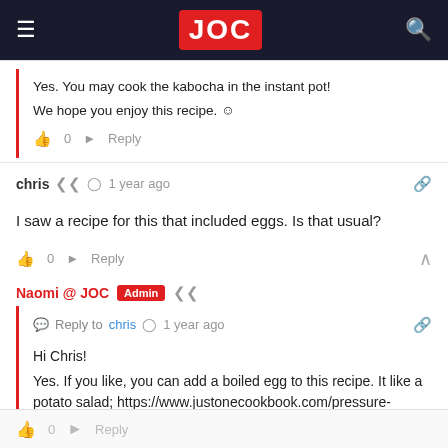JOC
Yes. You may cook the kabocha in the instant pot!
We hope you enjoy this recipe. ☺
👍 0   ➤ Reply
chris  🔗  🕐 1 year ago
I saw a recipe for this that included eggs. Is that usual?
👍 0   ➤ Reply
Naomi @ JOC  Admin  🔗
💬 Reply to chris  🕐 1 year ago
Hi Chris!
Yes. If you like, you can add a boiled egg to this recipe. It like a potato salad; https://www.justonecookbook.com/pressure-cooker-potato-salad/
👍 0   ➤ Reply